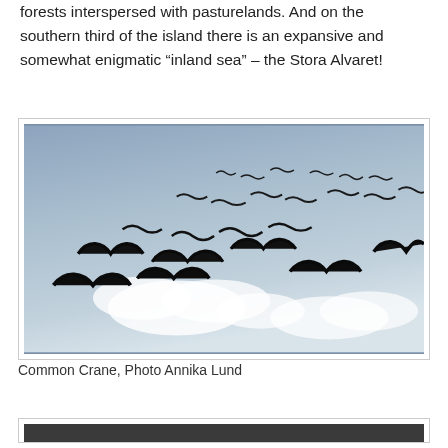forests interspersed with pasturelands. And on the southern third of the island there is an expansive and somewhat enigmatic “inland sea” – the Stora Alvaret!
[Figure (photo): A flock of Common Cranes (birds) flying in formation against a blue-grey cloudy sky. The birds appear as dark silhouettes spread across the image.]
Common Crane, Photo Annika Lund
[Figure (photo): Partial view of another photo at the bottom of the page, mostly cut off.]